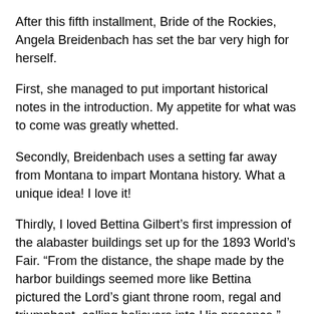After this fifth installment, Bride of the Rockies, Angela Breidenbach has set the bar very high for herself.
First, she managed to put important historical notes in the introduction. My appetite for what was to come was greatly whetted.
Secondly, Breidenbach uses a setting far away from Montana to impart Montana history. What a unique idea! I love it!
Thirdly, I loved Bettina Gilbert’s first impression of the alabaster buildings set up for the 1893 World’s Fair. “From the distance, the shape made by the harbor buildings seemed more like Bettina pictured the Lord’s giant throne room, regal and triumphant, calling believers into His presence.”